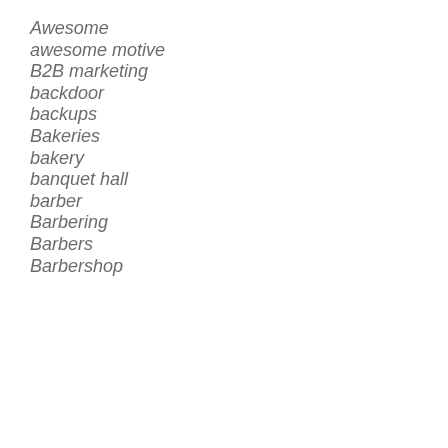Awesome
awesome motive
B2B marketing
backdoor
backups
Bakeries
bakery
banquet hall
barber
Barbering
Barbers
Barbershop